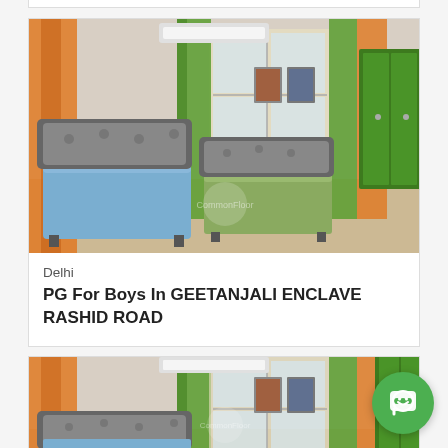[Figure (photo): Interior photo of a PG room showing two single beds with blue and green bedding, orange and green curtains, wall-mounted AC, framed pictures on wall, and a green wardrobe.]
Delhi
PG For Boys In GEETANJALI ENCLAVE RASHID ROAD
[Figure (photo): Partial interior photo of the same PG room, similar angle showing beds, orange and green curtains, AC, and green wardrobe.]